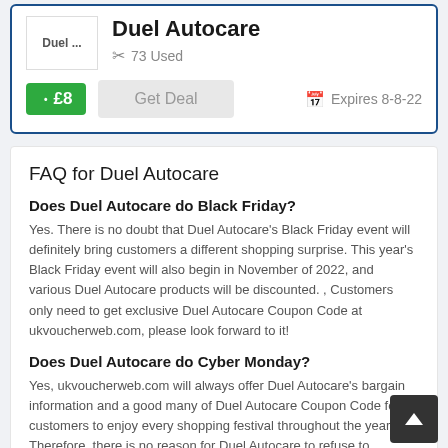[Figure (other): Store logo placeholder showing 'Duel ...' text]
Duel Autocare
73 Used
£8
Get Deal
Expires 8-8-22
FAQ for Duel Autocare
Does Duel Autocare do Black Friday?
Yes. There is no doubt that Duel Autocare's Black Friday event will definitely bring customers a different shopping surprise. This year's Black Friday event will also begin in November of 2022, and various Duel Autocare products will be discounted. , Customers only need to get exclusive Duel Autocare Coupon Code at ukvoucherweb.com, please look forward to it!
Does Duel Autocare do Cyber Monday?
Yes, ukvoucherweb.com will always offer Duel Autocare's bargain information and a good many of Duel Autocare Coupon Code for customers to enjoy every shopping festival throughout the year. Therefore, there is no reason for Duel Autocare to refuse to